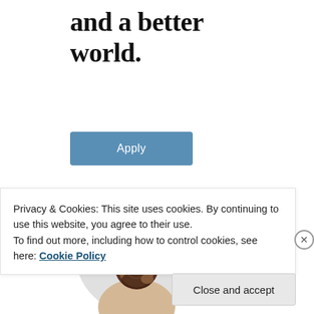and a better world.
[Figure (other): Blue 'Apply' button with white text]
[Figure (photo): A smiling man with glasses and beard, looking upward, circular cropped photo on light gray background]
Privacy & Cookies: This site uses cookies. By continuing to use this website, you agree to their use.
To find out more, including how to control cookies, see here: Cookie Policy
[Figure (other): Close and accept button]